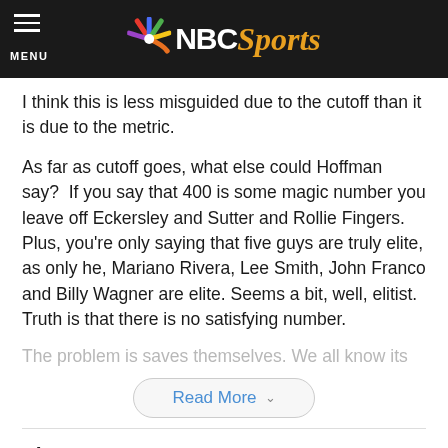NBC Sports
I think this is less misguided due to the cutoff than it is due to the metric.
As far as cutoff goes, what else could Hoffman say?  If you say that 400 is some magic number you leave off Eckersley and Sutter and Rollie Fingers. Plus, you're only saying that five guys are truly elite, as only he, Mariano Rivera, Lee Smith, John Franco and Billy Wagner are elite. Seems a bit, well, elitist. Truth is that there is no satisfying number.
The problem is saves themselves. We all know its
Read More
View 9 Comments